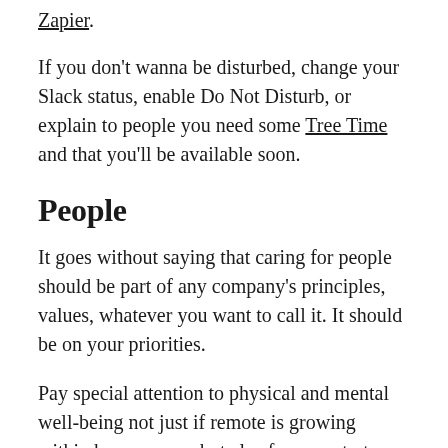Zapier.
If you don't wanna be disturbed, change your Slack status, enable Do Not Disturb, or explain to people you need some Tree Time and that you'll be available soon.
People
It goes without saying that caring for people should be part of any company's principles, values, whatever you want to call it. It should be on your priorities.
Pay special attention to physical and mental well-being not just if remote is growing within he company, but also for new starters in all-remote companies.